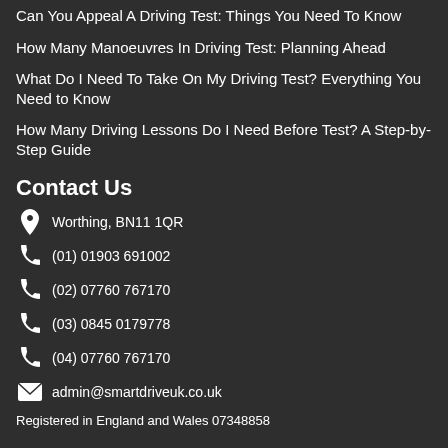Can You Appeal A Driving Test: Things You Need To Know
How Many Manoeuvres In Driving Test: Planning Ahead
What Do I Need To Take On My Driving Test? Everything You Need to Know
How Many Driving Lessons Do I Need Before Test? A Step-by-Step Guide
Contact Us
Worthing, BN11 1QR
(01) 01903 691002
(02) 07760 767170
(03) 0845 0179778
(04) 07760 767170
admin@smartdriveuk.co.uk
Registered in England and Wales 07348858